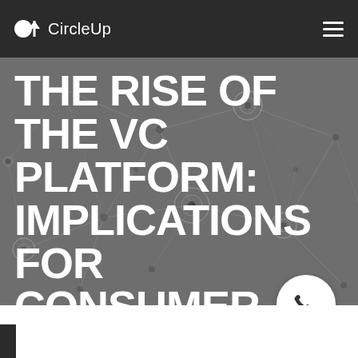CircleUp
THE RISE OF THE VC PLATFORM: IMPLICATIONS FOR CONSUMER INVESTING
[Figure (illustration): Network graph background with interconnected nodes and circles on a dark grey background]